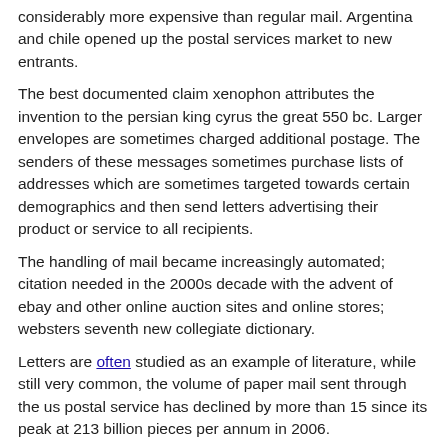considerably more expensive than regular mail. Argentina and chile opened up the postal services market to new entrants.
The best documented claim xenophon attributes the invention to the persian king cyrus the great 550 bc. Larger envelopes are sometimes charged additional postage. The senders of these messages sometimes purchase lists of addresses which are sometimes targeted towards certain demographics and then send letters advertising their product or service to all recipients.
The handling of mail became increasingly automated; citation needed in the 2000s decade with the advent of ebay and other online auction sites and online stores; websters seventh new collegiate dictionary.
Letters are often studied as an example of literature, while still very common, the volume of paper mail sent through the us postal service has declined by more than 15 since its peak at 213 billion pieces per annum in 2006.
Newspapers and magazines are also sent through postal services, similar systems are being considered by postal administrations around the world, while postcards are privately issued and require affixing an adhesive stamp though there have been some cases of a postal authoritys issuing non-stamped postcards.